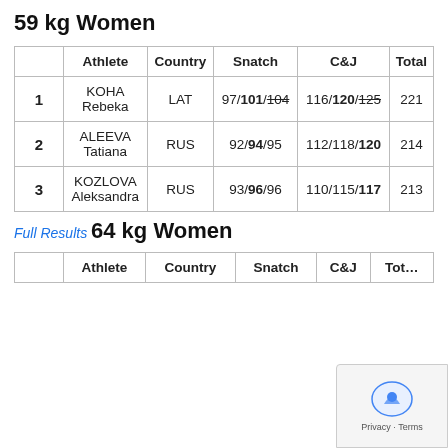59 kg Women
|  | Athlete | Country | Snatch | C&J | Total |
| --- | --- | --- | --- | --- | --- |
| 1 | KOHA Rebeka | LAT | 97/101/104 | 116/120/125 | 221 |
| 2 | ALEEVA Tatiana | RUS | 92/94/95 | 112/118/120 | 214 |
| 3 | KOZLOVA Aleksandra | RUS | 93/96/96 | 110/115/117 | 213 |
Full Results
64 kg Women
|  | Athlete | Country | Snatch | C&J | Total |
| --- | --- | --- | --- | --- | --- |